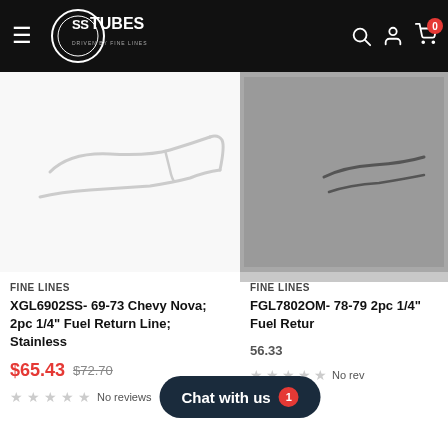SS TUBES - DRIVEN BY FINE LINES
[Figure (photo): Product image of 69-73 Chevy Nova fuel return line in stainless steel on white background]
FINE LINES
XGL6902SS- 69-73 Chevy Nova; 2pc 1/4" Fuel Return Line; Stainless
$65.43  $72.70
No reviews
[Figure (photo): Product image of 78-79 fuel return line on grey background]
FINE LINES
FGL7802OM- 78-79 2pc 1/4" Fuel Retur
56.33
No rev